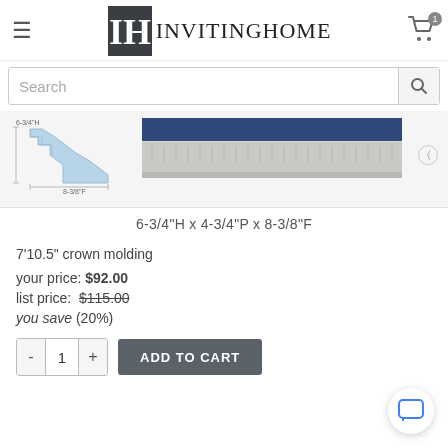[Figure (logo): InvitingHome logo with IH monogram in dark square and text INVITINGHOME]
Search
[Figure (illustration): Crown molding cross-section diagram showing 6-3/4 H and 8-3/8 F dimensions, and a photo of the molding piece]
6-3/4"H x 4-3/4"P x 8-3/8"F
7'10.5" crown molding
your price: $92.00
list price: $115.00
you save (20%)